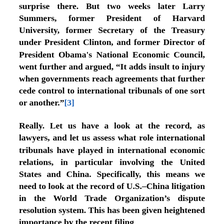surprise there. But two weeks later Larry Summers, former President of Harvard University, former Secretary of the Treasury under President Clinton, and former Director of President Obama's National Economic Council, went further and argued, “It adds insult to injury when governments reach agreements that further cede control to international tribunals of one sort or another.”[3]
Really. Let us have a look at the record, as lawyers, and let us assess what role international tribunals have played in international economic relations, in particular involving the United States and China. Specifically, this means we need to look at the record of U.S.–China litigation in the World Trade Organization’s dispute resolution system. This has been given heightened importance by the recent filing